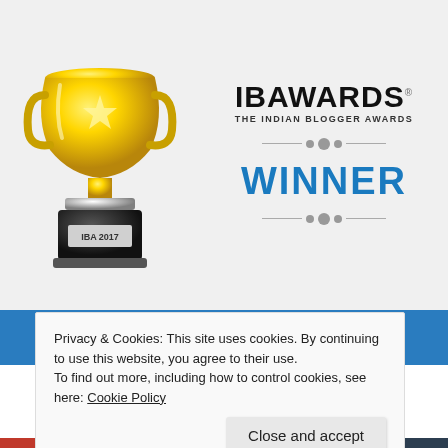[Figure (illustration): Gold trophy cup with black pedestal labeled IBA 2017, and IB Awards logo with 'THE INDIAN BLOGGER AWARDS' subtitle, three decorative dots, 'WINNER' in blue, and three more decorative dots on a light gray background]
anandkumarrs.com
IN THE FIELD OR CATEGORY
MARKETING & ADVERTISING
Privacy & Cookies: This site uses cookies. By continuing to use this website, you agree to their use.
To find out more, including how to control cookies, see here: Cookie Policy